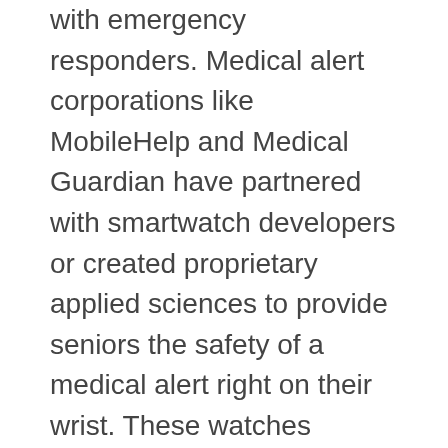with emergency responders. Medical alert corporations like MobileHelp and Medical Guardian have partnered with smartwatch developers or created proprietary applied sciences to provide seniors the safety of a medical alert right on their wrist. These watches embody most of the similar options as a typical smartwatch, corresponding to activity monitoring and private messaging.
Creators of the app, which has been downloaded 13 million times, name it a mixture of a game, science and art. Scientific American is a part of Springer Nature, which owns or has commercial relations with thousands of scientific publications (lots of them may be discovered at /us).
The social media service hid the president's publish about ballot drop bins, saying it violated Twitter's election integrity guidelines. BBC Ideas explores the ethics of "sharenting"It could be second